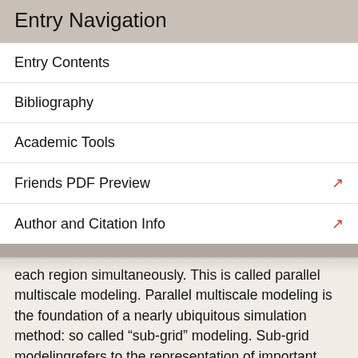Entry Navigation
Entry Contents
Bibliography
Academic Tools
Friends PDF Preview
Author and Citation Info
each region simultaneously. This is called parallel multiscale modeling. Parallel multiscale modeling is the foundation of a nearly ubiquitous simulation method: so called “sub-grid” modeling. Sub-grid modelingrefers to the representation of important small-scale physical processes that occur at length-scales that cannot be adequately resolved on the grid size of a particular simulation. (Remember that many simulations discretize continuous equations, so they have a relatively arbitrary finite “grid size.”) In the study of turbulence in fluids, for example, a common practical strategy for calculation is to